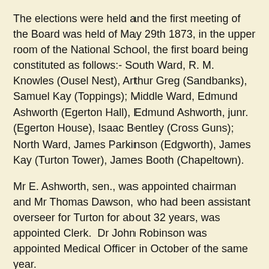The elections were held and the first meeting of the Board was held of May 29th 1873, in the upper room of the National School, the first board being constituted as follows:- South Ward, R. M. Knowles (Ousel Nest), Arthur Greg (Sandbanks), Samuel Kay (Toppings); Middle Ward, Edmund Ashworth (Egerton Hall), Edmund Ashworth, junr. (Egerton House), Isaac Bentley (Cross Guns); North Ward, James Parkinson (Edgworth), James Kay (Turton Tower), James Booth (Chapeltown).
Mr E. Ashworth, sen., was appointed chairman and Mr Thomas Dawson, who had been assistant overseer for Turton for about 32 years, was appointed Clerk.  Dr John Robinson was appointed Medical Officer in October of the same year.
The Board held its meetings on the last Thursday of each month at the old Birtenshaw School until June 1878, when they transferred to a room over the offices of John Ashworth and Sons of Rose Hill.
In 1880 the Local Government Board agreed to the increase